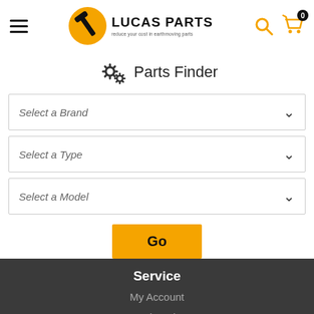[Figure (logo): Lucas Parts logo with yellow circle containing a black hammer/wrench icon, and text LUCAS PARTS with tagline 'reduce your cost in earthmoving parts']
Parts Finder
Select a Brand
Select a Type
Select a Model
Go
Service
My Account
Track Order
Resolution Centre